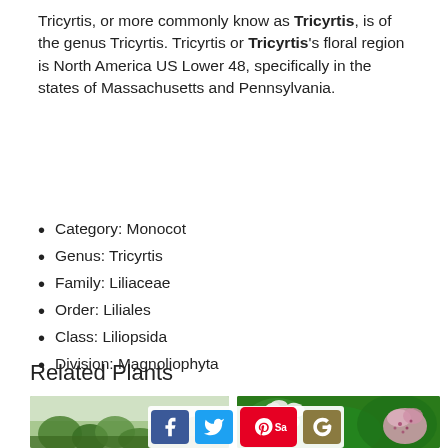Tricyrtis, or more commonly know as Tricyrtis, is of the genus Tricyrtis. Tricyrtis or Tricyrtis's floral region is North America US Lower 48, specifically in the states of Massachusetts and Pennsylvania.
Category: Monocot
Genus: Tricyrtis
Family: Liliaceae
Order: Liliales
Class: Liliopsida
Division: Magnoliophyta
Related Plants
[Figure (photo): Two photos of related plants: left shows a misty forest with green trees; right shows white flowers and a spotted pink/purple Tricyrtis orchid against green foliage. Social media share buttons overlay the photos.]